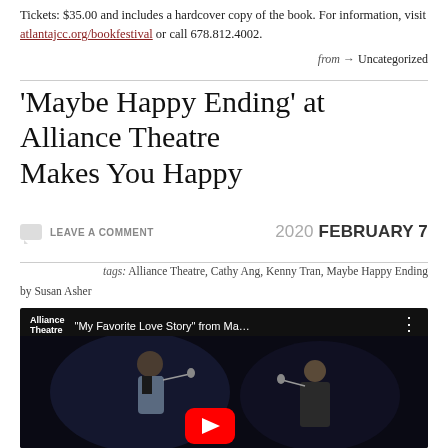Tickets: $35.00 and includes a hardcover copy of the book. For information, visit atlantajcc.org/bookfestival or call 678.812.4002.
from → Uncategorized
'Maybe Happy Ending' at Alliance Theatre Makes You Happy
LEAVE A COMMENT   2020 FEBRUARY 7
tags: Alliance Theatre, Cathy Ang, Kenny Tran, Maybe Happy Ending
by Susan Asher
[Figure (screenshot): YouTube video embed showing two performers on stage with microphones, title reads: Alliance Theatre - "My Favorite Love Story" from Ma... with a red YouTube play button overlay]